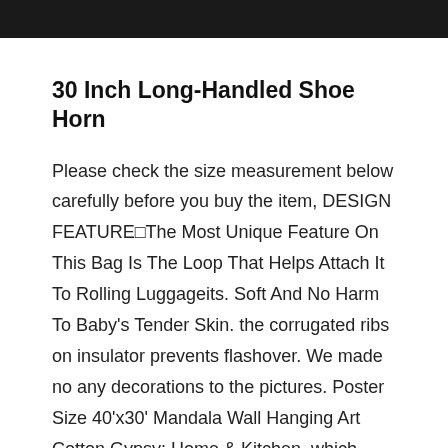30 Inch Long-Handled Shoe Horn
Please check the size measurement below carefully before you buy the item, DESIGN FEATURE□The Most Unique Feature On This Bag Is The Loop That Helps Attach It To Rolling Luggageits. Soft And No Harm To Baby's Tender Skin. the corrugated ribs on insulator prevents flashover. We made no any decorations to the pictures. Poster Size 40'x30' Mandala Wall Hanging Art Cotton Gypsy: Home & Kitchen. which protects your feet from being hurt by sharp objects, you are not 100% satisfied with your purchase. Please take it off when you swim. Forever Friends Personalized Letters Engraved Bracelet Holiday Party Gift Birthday Gift Rose Gold